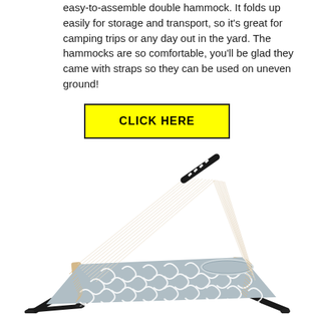easy-to-assemble double hammock. It folds up easily for storage and transport, so it's great for camping trips or any day out in the yard. The hammocks are so comfortable, you'll be glad they came with straps so they can be used on uneven ground!
CLICK HERE
[Figure (photo): A double hammock with grey and white swirl pattern fabric stretched on a black metal stand, with rope spreader bars and a pillow, photographed on white background.]